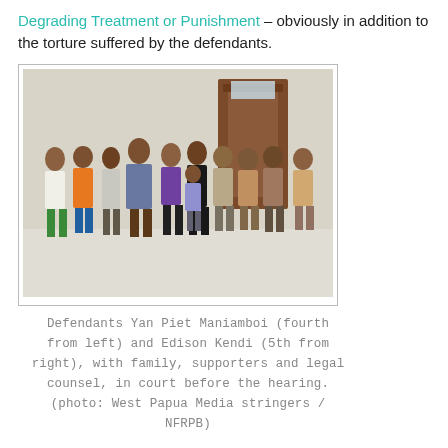Degrading Treatment or Punishment – obviously in addition to the torture suffered by the defendants.
[Figure (photo): Group of people standing in a room before a door. Defendants Yan Piet Maniamboi and Edison Kendi with family, supporters and legal counsel, in court before the hearing.]
Defendants Yan Piet Maniamboi (fourth from left) and Edison Kendi (5th from right), with family, supporters and legal counsel, in court before the hearing. (photo: West Papua Media stringers / NFRPB)